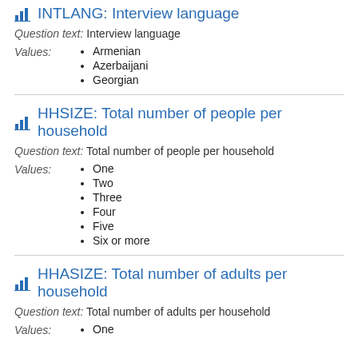INTLANG: Interview language
Question text: Interview language
Values:
Armenian
Azerbaijani
Georgian
HHSIZE: Total number of people per household
Question text: Total number of people per household
Values:
One
Two
Three
Four
Five
Six or more
HHASIZE: Total number of adults per household
Question text: Total number of adults per household
One